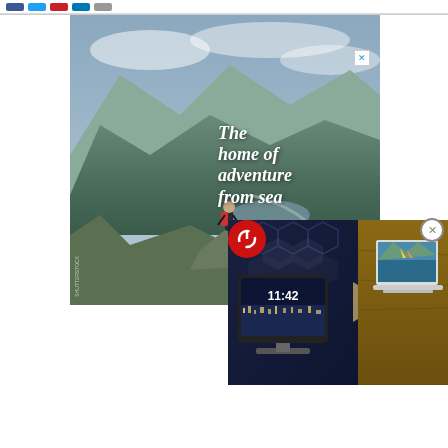Navigation bar with social share buttons
ARTICLE CONTINUES AFTER ADVERTISEMENT
[Figure (photo): Advertisement showing a hiker on a rocky mountain with valley view and text overlay reading 'The home of adventure from sea' in white italic bold font. A partially visible ghost/faded background text reads 'The home of adventure from sea to summit' and 'year loop'.]
[Figure (photo): Overlapping tech advertisement showing Google Nest Hub smart display device showing time 11:42, alongside a laptop displaying a scenic bay with boats. Hexagonal dark background pattern with a play button arrow. Red power button icon at top left.]
[Figure (other): Close circle button (X) for dismissing the device advertisement overlay]